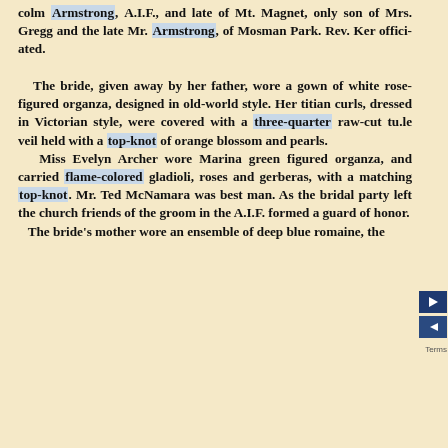colm Armstrong, A.I.F., and late of Mt. Magnet, only son of Mrs. Gregg and the late Mr. Armstrong, of Mosman Park. Rev. Ker officiated.

The bride, given away by her father, wore a gown of white rose-figured organza, designed in old-world style. Her titian curls, dressed in Victorian style, were covered with a three-quarter raw-cut tulle veil held with a top-knot of orange blossom and pearls.
  Miss Evelyn Archer wore Marina green figured organza, and carried flame-colored gladioli, roses and gerberas, with a matching top-knot. Mr. Ted McNamara was best man. As the bridal party left the church friends of the groom in the A.I.F. formed a guard of honor.
  The bride's mother wore an ensemble of deep blue romaine, the